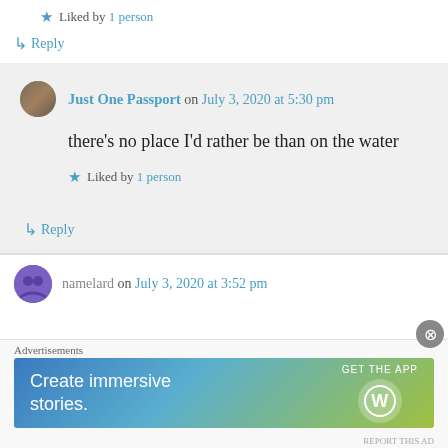Liked by 1 person
↳ Reply
Just One Passport on July 3, 2020 at 5:30 pm
there's no place I'd rather be than on the water
Liked by 1 person
↳ Reply
namelard on July 3, 2020 at 3:52 pm
Advertisements
[Figure (screenshot): WordPress advertisement banner: 'Create immersive stories. GET THE APP' with WordPress logo]